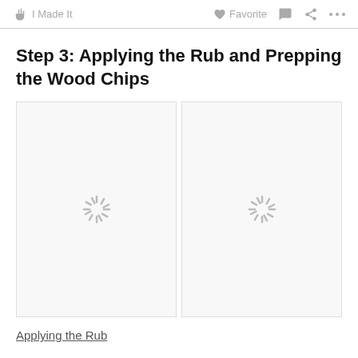I Made It   Favorite
Step 3: Applying the Rub and Prepping the Wood Chips
[Figure (illustration): Two side-by-side image placeholders with loading spinner icons, indicating images are loading.]
Applying the Rub